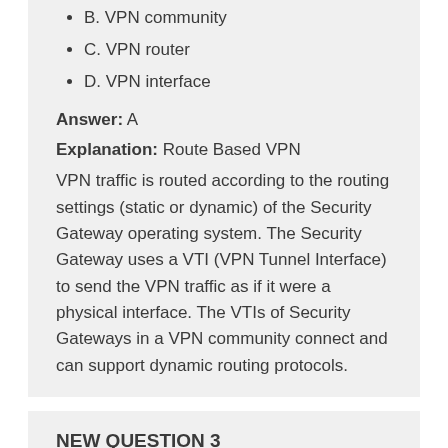B. VPN community
C. VPN router
D. VPN interface
Answer: A
Explanation: Route Based VPN
VPN traffic is routed according to the routing settings (static or dynamic) of the Security Gateway operating system. The Security Gateway uses a VTI (VPN Tunnel Interface) to send the VPN traffic as if it were a physical interface. The VTIs of Security Gateways in a VPN community connect and can support dynamic routing protocols.
NEW QUESTION 3
Where can you trigger a failover of the cluster members?
Log in to Security Gateway CLI and run command